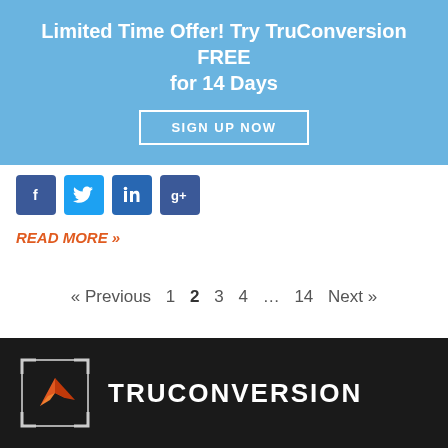Limited Time Offer! Try TruConversion FREE for 14 Days
SIGN UP NOW
[Figure (other): Four social media share buttons (Facebook, Twitter, LinkedIn, Google+) in blue]
READ MORE »
« Previous 1 2 3 4 … 14 Next »
[Figure (logo): TruConversion logo: orange origami bird icon with bracket frame on dark background, next to white TRUCONVERSION text]